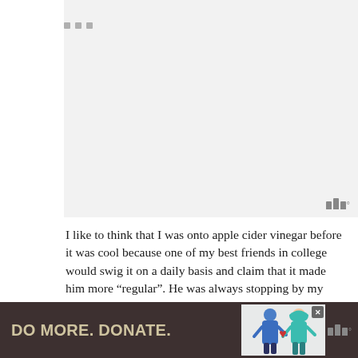[Figure (other): Light gray placeholder image area with three small gray square dots near the top center, and a small logo (bars with degree symbol) in the bottom right corner.]
I like to think that I was onto apple cider vinegar before it was cool because one of my best friends in college would swig it on a daily basis and claim that it made him more “regular”. He was always stopping by my room when his bottle ran dry to steal slurps out of mine since he knew I had it for cooking. TMI dude! But at the time it was pretty funny. That’s college for you!
[Figure (other): Advertisement banner with dark brown background, text 'DO MORE. DONATE.' in light tan bold font, an illustration of two figures (one in blue, one in teal hijab) with a red heart, a close/X button, and a small logo on the right.]